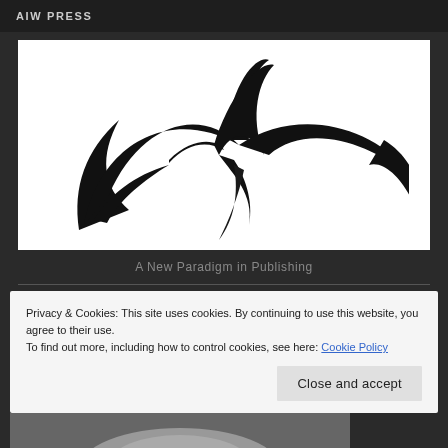AIW PRESS
[Figure (logo): AIW Press logo — a stylized brush-stroke abstract symbol resembling intertwined curves or horns in black ink on white background]
A New Paradigm in Publishing
Privacy & Cookies: This site uses cookies. By continuing to use this website, you agree to their use.
To find out more, including how to control cookies, see here: Cookie Policy
Close and accept